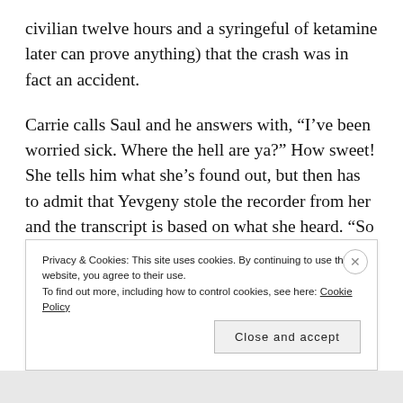civilian twelve hours and a syringeful of ketamine later can prove anything) that the crash was in fact an accident.
Carrie calls Saul and he answers with, “I’ve been worried sick. Where the hell are ya?” How sweet! She tells him what she’s found out, but then has to admit that Yevgeny stole the recorder from her and the transcript is based on what she heard. “So we’ve got nothing,” Saul realizes, and explains to her, “You have zero credibility,” which is probably an understatement. Carrie demands for him to go to the Russians and
Privacy & Cookies: This site uses cookies. By continuing to use this website, you agree to their use.
To find out more, including how to control cookies, see here: Cookie Policy
Close and accept